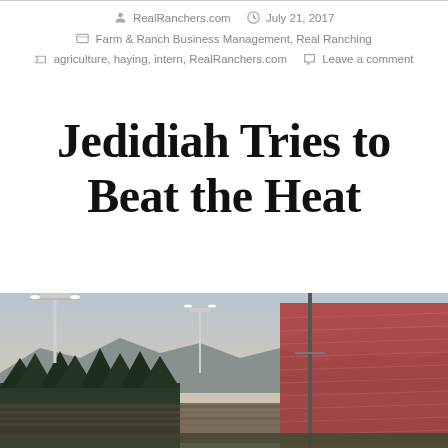RealRanchers.com   July 21, 2017   Farm & Ranch Business Management, Real Ranching   agriculture, haying, intern, RealRanchers.com   Leave a comment
Jedidiah Tries to Beat the Heat
[Figure (photo): Crowded outdoor stadium at dusk with stadium lights on, mountains and trees visible in the background, red bleachers packed with spectators]